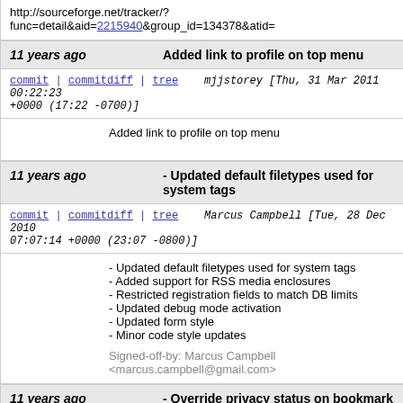http://sourceforge.net/tracker/?func=detail&aid=2215940&group_id=134378&atid=
11 years ago    Added link to profile on top menu
commit | commitdiff | tree    mjjstorey [Thu, 31 Mar 2011 00:22:23 +0000 (17:22 -0700)]
Added link to profile on top menu
11 years ago    - Updated default filetypes used for system tags
commit | commitdiff | tree    Marcus Campbell [Tue, 28 Dec 2010 07:07:14 +0000 (23:07 -0800)]
- Updated default filetypes used for system tags
- Added support for RSS media enclosures
- Restricted registration fields to match DB limits
- Updated debug mode activation
- Updated form style
- Minor code style updates

Signed-off-by: Marcus Campbell <marcus.campbell@gmail.com>
11 years ago    - Override privacy status on bookmark file import, if specified (i.e. Delicious)